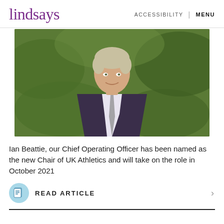lindsays | ACCESSIBILITY | MENU
[Figure (photo): Professional headshot of Ian Beattie, a man with short grey-blond hair wearing a dark suit and striped tie, photographed outdoors with green foliage background.]
Ian Beattie, our Chief Operating Officer has been named as the new Chair of UK Athletics and will take on the role in October 2021
READ ARTICLE